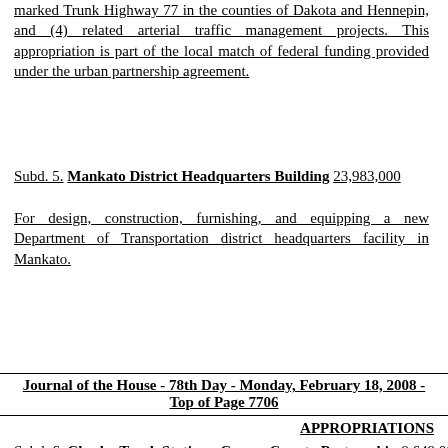marked Trunk Highway 77 in the counties of Dakota and Hennepin, and (4) related arterial traffic management projects. This appropriation is part of the local match of federal funding provided under the urban partnership agreement.
Subd. 5. Mankato District Headquarters Building 23,983,000
For design, construction, furnishing, and equipping a new Department of Transportation district headquarters facility in Mankato.
Journal of the House - 78th Day - Monday, February 18, 2008 - Top of Page 7706
APPROPRIATIONS
Subd. 6. Chaska Truck Station - Carver County Partnership 8,649,000
For design and construction of